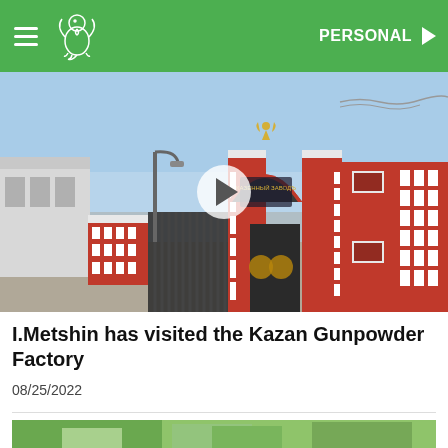PERSONAL
[Figure (photo): Photograph of the ornate red-and-white entrance gate of the Kazan Gunpowder Factory with a play button overlay indicating a video thumbnail. The gate features a Russian imperial eagle on top and Cyrillic text on the arch.]
I.Metshin has visited the Kazan Gunpowder Factory
08/25/2022
[Figure (photo): Partial view of a second photo showing green foliage at the bottom of the page.]